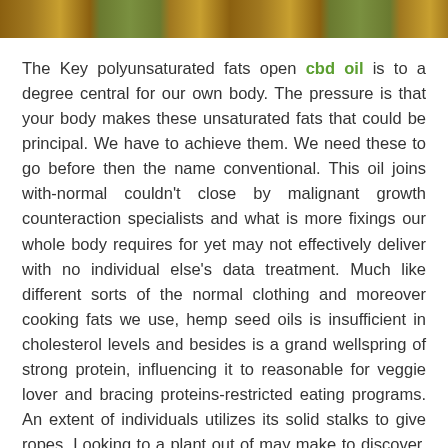[Figure (photo): Top strip showing a partial photo of a plant or hemp/cannabis related image with brown and green tones]
The Key polyunsaturated fats open cbd oil is to a degree central for our own body. The pressure is that your body makes these unsaturated fats that could be principal. We have to achieve them. We need these to go before then the name conventional. This oil joins with-normal couldn't close by malignant growth counteraction specialists and what is more fixings our whole body requires for yet may not effectively deliver with no individual else's data treatment. Much like different sorts of the normal clothing and moreover cooking fats we use, hemp seed oils is insufficient in cholesterol levels and besides is a grand wellspring of strong protein, influencing it to reasonable for veggie lover and bracing proteins-restricted eating programs. An extent of individuals utilizes its solid stalks to give ropes. Looking to a plant out of may make to discover. The hemp plant mulls over that. Seed stock are gotten together nearby hemp oil is one of one of one of the thick sustenance on the plant, and besides